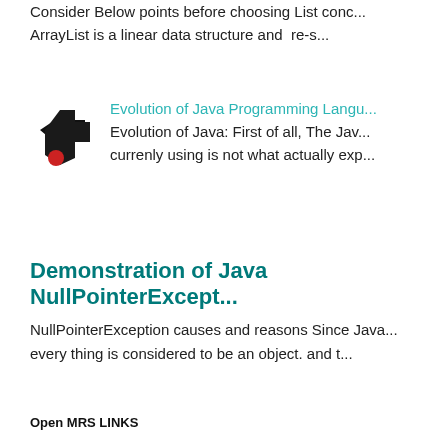Consider Below points before choosing List conc... ArrayList is a linear data structure and re-s...
Evolution of Java Programming Langu...
Evolution of Java: First of all, The Jav... currenly using is not what actually exp...
Demonstration of Java NullPointerExcept...
NullPointerException causes and reasons Since Java... every thing is considered to be an object. and t...
Open MRS LINKS